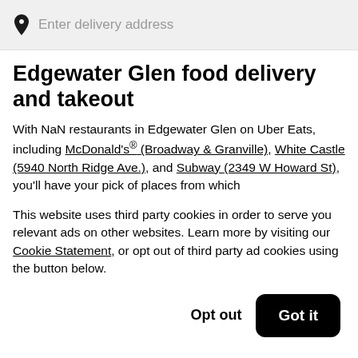Enter delivery address
Edgewater Glen food delivery and takeout
With NaN restaurants in Edgewater Glen on Uber Eats, including McDonald's® (Broadway & Granville), White Castle (5940 North Ridge Ave.), and Subway (2349 W Howard St), you'll have your pick of places from which
This website uses third party cookies in order to serve you relevant ads on other websites. Learn more by visiting our Cookie Statement, or opt out of third party ad cookies using the button below.